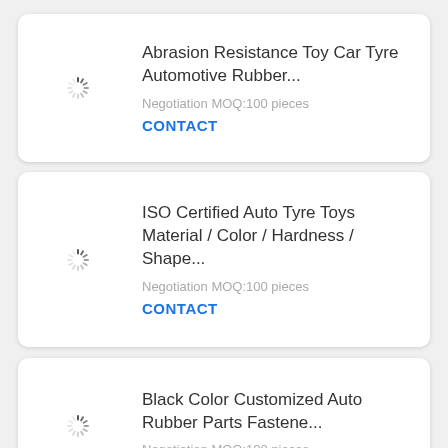[Figure (other): Loading spinner icon for product image placeholder]
Abrasion Resistance Toy Car Tyre Automotive Rubber...
Negotiation MOQ:100 pieces
CONTACT
[Figure (other): Loading spinner icon for product image placeholder]
ISO Certified Auto Tyre Toys Material / Color / Hardness / Shape...
Negotiation MOQ:100 pieces
CONTACT
[Figure (other): Loading spinner icon for product image placeholder]
Black Color Customized Auto Rubber Parts Fastene...
Negotiation MOQ:100 pieces